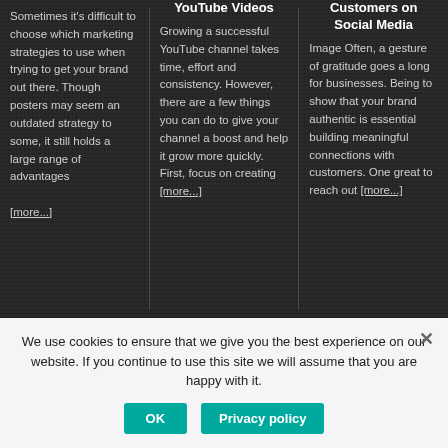Sometimes it's difficult to choose which marketing strategies to use when trying to get your brand out there. Though posters may seem an outdated strategy to some, it still holds a large range of advantages [more...]
YouTube Videos
Growing a successful YouTube channel takes time, effort and consistency. However, there are a few things you can do to give your channel a boost and help it grow more quickly. First, focus on creating [more...]
Customers on Social Media
Image Often, a gesture of gratitude goes a long for businesses. Being to show that your brand authentic is essential building meaningful connections with customers. One great to reach out [more...]
We use cookies to ensure that we give you the best experience on our website. If you continue to use this site we will assume that you are happy with it.